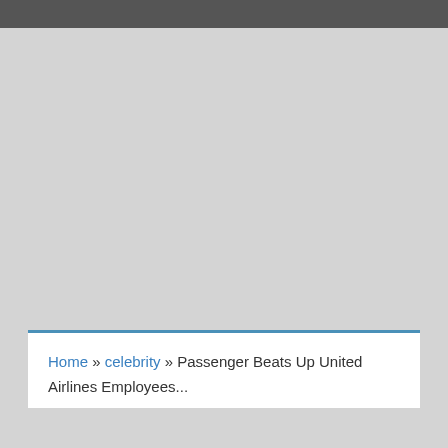Home » celebrity » Passenger Beats Up United Airlines Employees...